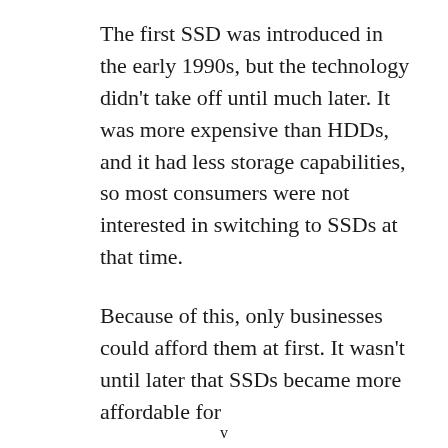The first SSD was introduced in the early 1990s, but the technology didn't take off until much later. It was more expensive than HDDs, and it had less storage capabilities, so most consumers were not interested in switching to SSDs at that time.
Because of this, only businesses could afford them at first. It wasn't until later that SSDs became more affordable for
v